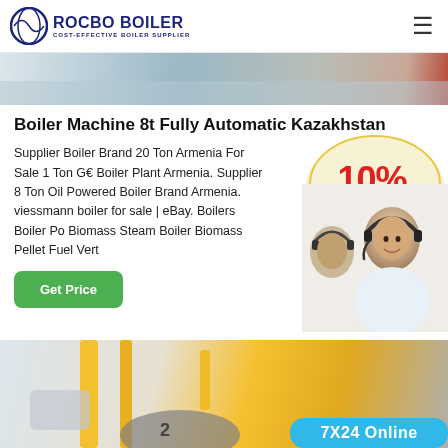ROCBO BOILER COST-EFFECTIVE BOILER SUPPLIER
[Figure (photo): Top hero image showing engineering/technical drawings or blueprints with some red accent, blurred background]
Boiler Machine 8t Fully Automatic Kazakhstan
Supplier Boiler Brand 20 Ton Armenia For Sale 1 Ton Gas Boiler Plant Armenia. Supplier 8 Ton Oil Powered Boiler Brand Armenia. viessmann boiler for sale | eBay. Boilers Boiler Po... Biomass Steam Boiler Biomass Pellet Fuel Vert...
[Figure (infographic): 10% DISCOUNT promotional badge with red text on cream/beige background with decorative ribbon styling]
[Figure (photo): Customer service representative wearing headset smiling, with another agent in background]
[Figure (photo): Bottom image showing industrial/bus interior with yellow pipes and equipment. Partial text '7X24 Online' visible at bottom right.]